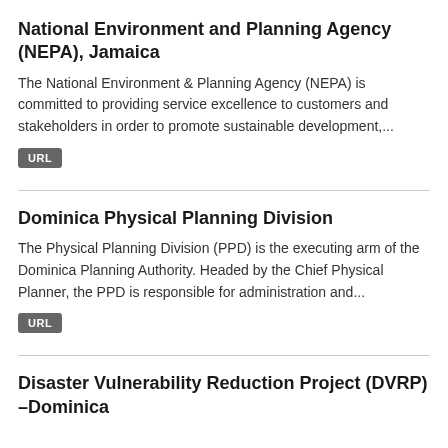National Environment and Planning Agency (NEPA), Jamaica
The National Environment & Planning Agency (NEPA) is committed to providing service excellence to customers and stakeholders in order to promote sustainable development,...
URL
Dominica Physical Planning Division
The Physical Planning Division (PPD) is the executing arm of the Dominica Planning Authority. Headed by the Chief Physical Planner, the PPD is responsible for administration and...
URL
Disaster Vulnerability Reduction Project (DVRP) –Dominica